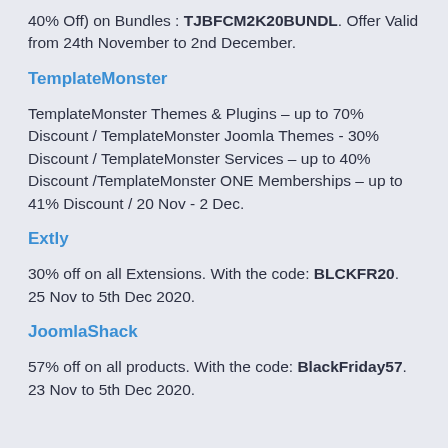40% Off) on Bundles : TJBFCM2K20BUNDL. Offer Valid from 24th November to 2nd December.
TemplateMonster
TemplateMonster Themes & Plugins – up to 70% Discount / TemplateMonster Joomla Themes - 30% Discount / TemplateMonster Services – up to 40% Discount /TemplateMonster ONE Memberships – up to 41% Discount / 20 Nov - 2 Dec.
Extly
30% off on all Extensions. With the code: BLCKFR20. 25 Nov to 5th Dec 2020.
JoomlaShack
57% off on all products. With the code: BlackFriday57. 23 Nov to 5th Dec 2020.